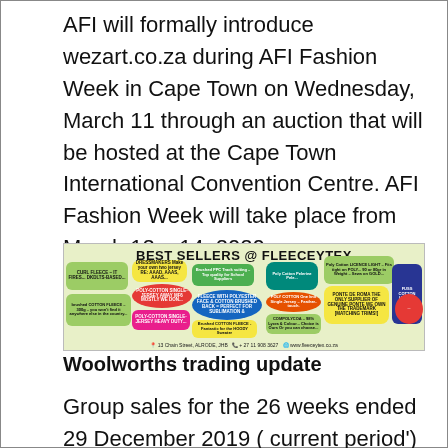AFI will formally introduce wezart.co.za during AFI Fashion Week in Cape Town on Wednesday, March 11 through an auction that will be hosted at the Cape Town International Convention Centre. AFI Fashion Week will take place from March 12 – 14, 2020.
[Figure (infographic): Colourful advertisement banner for Fleeceytex Best Sellers featuring various fabric product labels in bright colours (yellow, green, red, blue, pink, teal) on a light green background. Title reads 'BEST SELLERS @ FLEECEYTEX'. Footer shows address: 13 Chain Street, Alrode, JHB, phone +27 11 908 3627, website www.fleeceytex.co.za]
Woolworths trading update
Group sales for the 26 weeks ended 29 December 2019 ( current period') increased